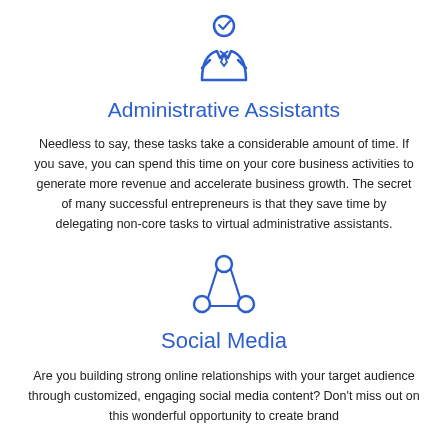[Figure (illustration): Blue line icon of a business person/administrative assistant in a suit with tie]
Administrative Assistants
Needless to say, these tasks take a considerable amount of time. If you save, you can spend this time on your core business activities to generate more revenue and accelerate business growth. The secret of many successful entrepreneurs is that they save time by delegating non-core tasks to virtual administrative assistants.
[Figure (illustration): Blue line icon of three connected circles forming a triangle (social media/network symbol)]
Social Media
Are you building strong online relationships with your target audience through customized, engaging social media content? Don't miss out on this wonderful opportunity to create brand